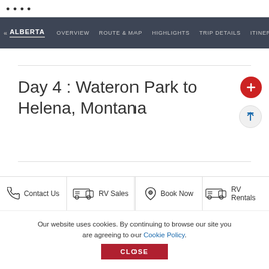ALBERTA
« ALBERTA   OVERVIEW   ROUTE & MAP   HIGHLIGHTS   TRIP DETAILS   ITINERARIES
Day 4 : Wateron Park to Helena, Montana
Day 5 : Helena, Montana to
Contact Us   RV Sales   Book Now   RV Rentals
Our website uses cookies. By continuing to browse our site you are agreeing to our Cookie Policy.
CLOSE